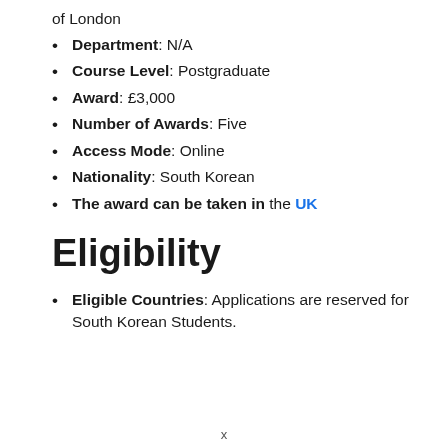of London
Department: N/A
Course Level: Postgraduate
Award: £3,000
Number of Awards: Five
Access Mode: Online
Nationality: South Korean
The award can be taken in the UK
Eligibility
Eligible Countries: Applications are reserved for South Korean Students.